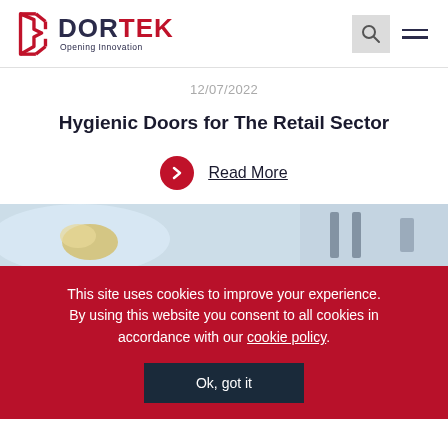DORTEK – Opening Innovation
12/07/2022
Hygienic Doors for The Retail Sector
Read More
[Figure (photo): Close-up photo of what appears to be a brush or cleaning implement near a door, with door hardware visible in the background]
This site uses cookies to improve your experience. By using this website you consent to all cookies in accordance with our cookie policy.
Ok, got it